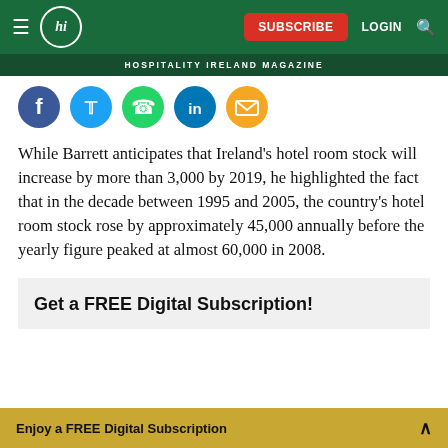HOSPITALITY IRELAND MAGAZINE
[Figure (illustration): Social media sharing icons row: Facebook (blue), Twitter (blue), WhatsApp (green), LinkedIn (blue), Email (orange)]
While Barrett anticipates that Ireland's hotel room stock will increase by more than 3,000 by 2019, he highlighted the fact that in the decade between 1995 and 2005, the country's hotel room stock rose by approximately 45,000 annually before the yearly figure peaked at almost 60,000 in 2008.
Get a FREE Digital Subscription!
Enjoy a FREE Digital Subscription